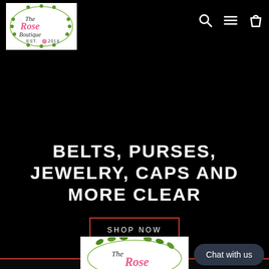[Figure (logo): The Rose Boutique logo - oval shape with pink and green floral decorations, text reading 'The Rose Boutique EST. 2018' on white background]
[Figure (other): Navigation icons: search (magnifying glass), hamburger menu (three lines), shopping bag]
BELTS, PURSES, JEWELRY, CAPS AND MORE CLEAR
SHOP NOW
[Figure (logo): The Rose Boutique logo partially visible at bottom - oval with green ivy/floral decorations, script text 'The Rose']
Chat with us